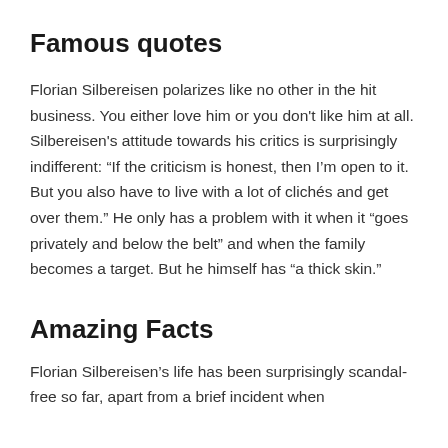Famous quotes
Florian Silbereisen polarizes like no other in the hit business. You either love him or you don't like him at all. Silbereisen's attitude towards his critics is surprisingly indifferent: “If the criticism is honest, then I’m open to it. But you also have to live with a lot of clichés and get over them.” He only has a problem with it when it “goes privately and below the belt” and when the family becomes a target. But he himself has “a thick skin.”
Amazing Facts
Florian Silbereisen’s life has been surprisingly scandal-free so far, apart from a brief incident when